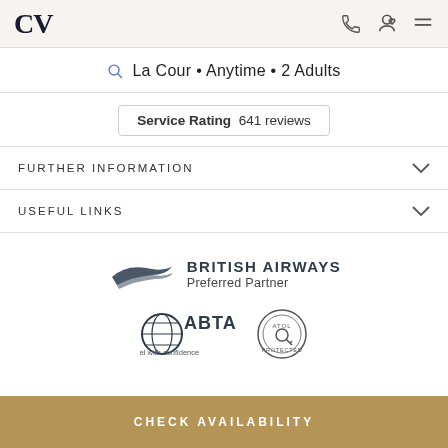CV
La Cour • Anytime • 2 Adults
Service Rating  641 reviews
FURTHER INFORMATION
USEFUL LINKS
[Figure (logo): British Airways Preferred Partner logo with stylized speedmarque wing]
[Figure (logo): ABTA Travel with confidence logo and ATOL Protected circular seal]
CHECK AVAILABILITY